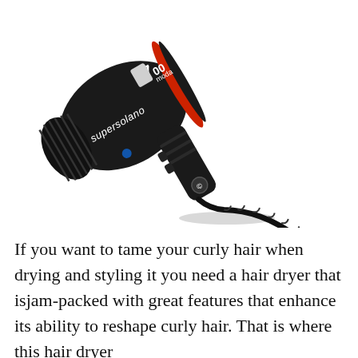[Figure (photo): A black Supersolano 3700 Moda professional hair dryer with red accent ring, shown at an angle with cord hanging down]
If you want to tame your curly hair when drying and styling it you need a hair dryer that isjam-packed with great features that enhance its ability to reshape curly hair. That is where this hair dryer